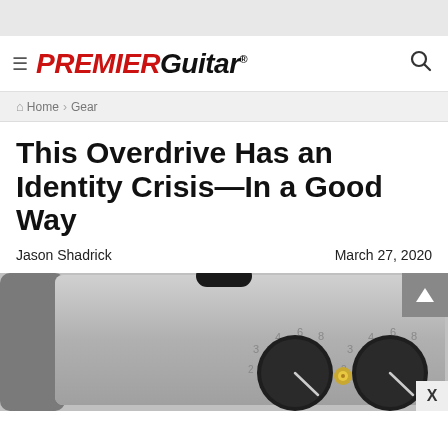PREMIER Guitar
Home › Gear
This Overdrive Has an Identity Crisis—In a Good Way
Jason Shadrick    March 27, 2020
[Figure (photo): Close-up photo of a guitar effect pedal showing two black knobs with numbered dials (2, 3, 4, 6, 8) on a silver/gray metal enclosure, with a small gold output jack visible between the knobs]